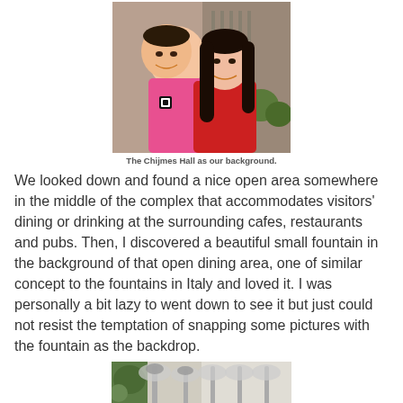[Figure (photo): Two people posing together smiling, one in a pink shirt, the other in a red top with dark hair, with Chijmes Hall architecture visible in the background.]
The Chijmes Hall as our background.
We looked down and found a nice open area somewhere in the middle of the complex that accommodates visitors' dining or drinking at the surrounding cafes, restaurants and pubs. Then, I discovered a beautiful small fountain in the background of that open dining area, one of similar concept to the fountains in Italy and loved it. I was personally a bit lazy to went down to see it but just could not resist the temptation of snapping some pictures with the fountain as the backdrop.
[Figure (photo): Partial view of a fountain area with ornate ironwork or stonework visible, outdoor setting.]